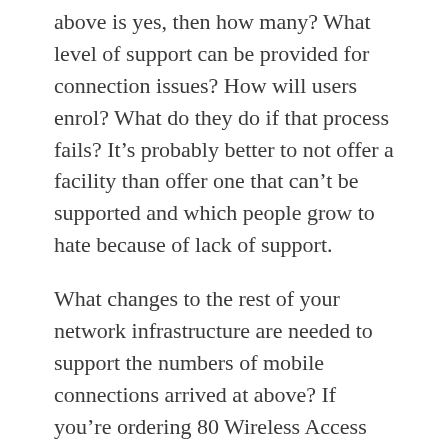above is yes, then how many? What level of support can be provided for connection issues? How will users enrol? What do they do if that process fails? It's probably better to not offer a facility than offer one that can't be supported and which people grow to hate because of lack of support.
What changes to the rest of your network infrastructure are needed to support the numbers of mobile connections arrived at above? If you're ordering 80 Wireless Access Points then where will they be plugged in? Do you need to upgrade your switch infrastructure to support POE?
How do any changes noted in the above point fit into your strategy for maintaining and improving the general network infrastructure? It's pointless